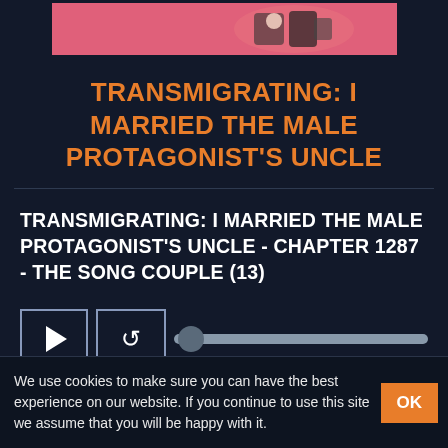[Figure (illustration): Pink banner with cartoon/anime character illustration at the top of the page]
TRANSMIGRATING: I MARRIED THE MALE PROTAGONIST'S UNCLE
TRANSMIGRATING: I MARRIED THE MALE PROTAGONIST'S UNCLE - CHAPTER 1287 - THE SONG COUPLE (13)
[Figure (screenshot): Audio player controls: play button, refresh/replay button, and a progress slider bar]
We use cookies to make sure you can have the best experience on our website. If you continue to use this site we assume that you will be happy with it.